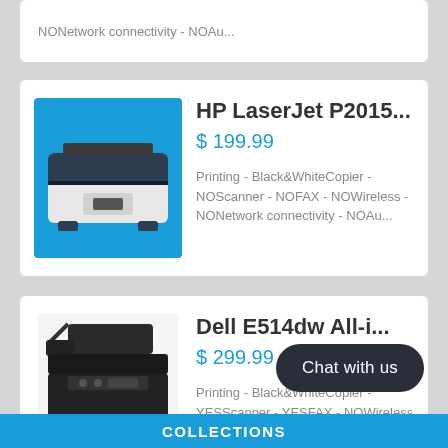NONetwork connectivity - NOAu...
HP LaserJet P2015...
$ 199.99
Printing - Black&WhiteCopier - NOScanner - NOFAX - NOWireless - NONetwork connectivity - NOAu...
[Figure (photo): HP LaserJet P2015 laser printer, white and dark navy color, angled view on blue background]
Dell E514dw All-i...
$ 299.99
Printing - Black&WhiteCopier - YESScanner - YESFAX - NOWireless - YESNetwork co...
[Figure (photo): Dell E514dw All-in-One black multifunction printer, angled view on white background]
Chat with us
COLLECTIONS